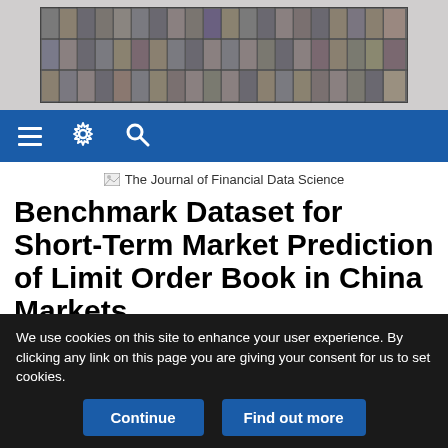[Figure (photo): A grid of headshot photos of multiple people arranged in 3 rows and approximately 20 columns, shown in black and white, forming a banner at the top of the page.]
≡ ⚙ 🔍
[Figure (logo): The Journal of Financial Data Science logo with broken image icon]
Benchmark Dataset for Short-Term Market Prediction of Limit Order Book in China Markets
Charles Huang, Weifeng Ge, Hongsong Chou and Xin Du
We use cookies on this site to enhance your user experience. By clicking any link on this page you are giving your consent for us to set cookies.
Continue    Find out more